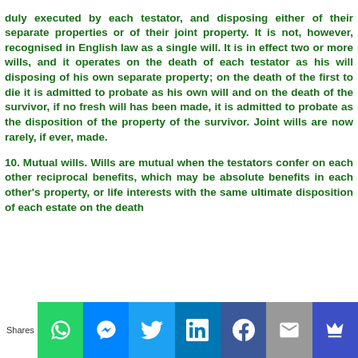duly executed by each testator, and disposing either of their separate properties or of their joint property. It is not, however, recognised in English law as a single will. It is in effect two or more wills, and it operates on the death of each testator as his will disposing of his own separate property; on the death of the first to die it is admitted to probate as his own will and on the death of the survivor, if no fresh will has been made, it is admitted to probate as the disposition of the property of the survivor. Joint wills are now rarely, if ever, made.

10. Mutual wills. Wills are mutual when the testators confer on each other reciprocal benefits, which may be absolute benefits in each other's property, or life interests with the same ultimate disposition of each estate on the death
[Figure (infographic): Social share bar at the bottom with Shares label and icons for WhatsApp, Messenger, Twitter, LinkedIn, Facebook, Email, and Crown/bookmark]